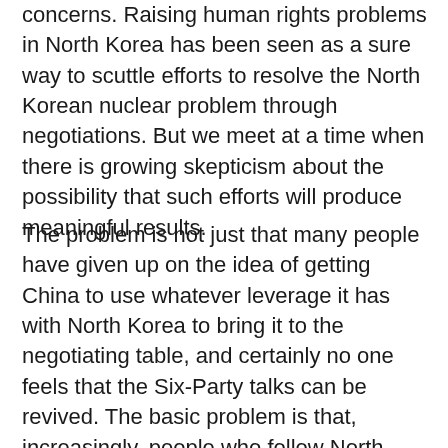concerns.  Raising human rights problems in North Korea has been seen as a sure way to scuttle efforts to resolve the North Korean nuclear problem through negotiations.  But we meet at a time when there is growing skepticism about the possibility that such efforts will produce meaningful results.
The problem is not just that many people have given up on the idea of getting China to use whatever leverage it has with North Korea to bring it to the negotiating table, and certainly no one feels that the Six-Party talks can be revived.  The basic problem is that, increasingly, people who follow North Korea problem are coming to the realization that for the regime in Pyongyang, the nuclear issue is an existential matter.  It sees having nuclear weapons as necessary for its survival, and that negotiating them away, whatever economic and political benefits it might receive as trade-offs, would be suicidal.  The recent rocket launch has been a kind of shock of recognition for those who have been reluctant to acknowledge the importance that North Korea